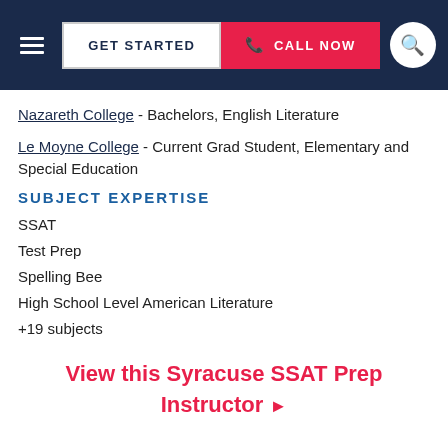GET STARTED | CALL NOW
Nazareth College - Bachelors, English Literature
Le Moyne College - Current Grad Student, Elementary and Special Education
SUBJECT EXPERTISE
SSAT
Test Prep
Spelling Bee
High School Level American Literature
+19 subjects
View this Syracuse SSAT Prep Instructor ▶